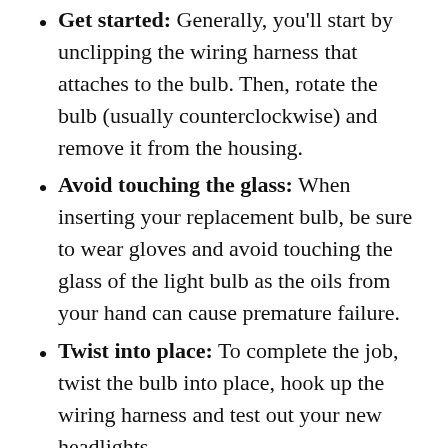Get started: Generally, you'll start by unclipping the wiring harness that attaches to the bulb. Then, rotate the bulb (usually counterclockwise) and remove it from the housing.
Avoid touching the glass: When inserting your replacement bulb, be sure to wear gloves and avoid touching the glass of the light bulb as the oils from your hand can cause premature failure.
Twist into place: To complete the job, twist the bulb into place, hook up the wiring harness and test out your new headlights.
Why Do Headlights Got